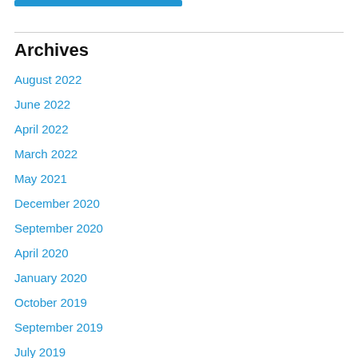Archives
August 2022
June 2022
April 2022
March 2022
May 2021
December 2020
September 2020
April 2020
January 2020
October 2019
September 2019
July 2019
June 2019
May 2019
April 2019
March 2019